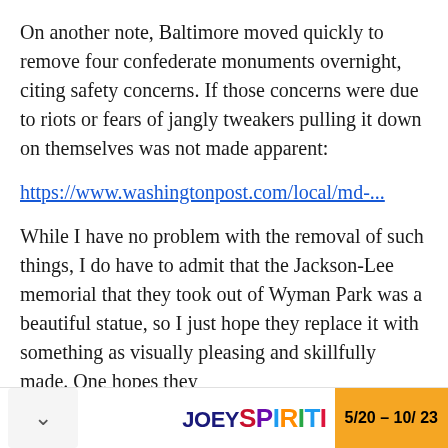On another note, Baltimore moved quickly to remove four confederate monuments overnight, citing safety concerns. If those concerns were due to riots or fears of jangly tweakers pulling it down on themselves was not made apparent:
https://www.washingtonpost.com/local/md-...
While I have no problem with the removal of such things, I do have to admit that the Jackson-Lee memorial that they took out of Wyman Park was a beautiful statue, so I just hope they replace it with something as visually pleasing and skillfully made. One hopes they
[Figure (other): Advertisement footer bar: JOEY SPIRITI colorful logo with date range 5/20 – 10/23]